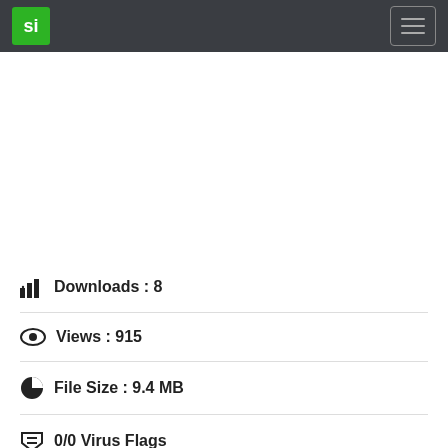si (logo) | hamburger menu
Downloads : 8
Views : 915
File Size : 9.4 MB
0/0 Virus Flags
Windows
Shareware
Price: $...